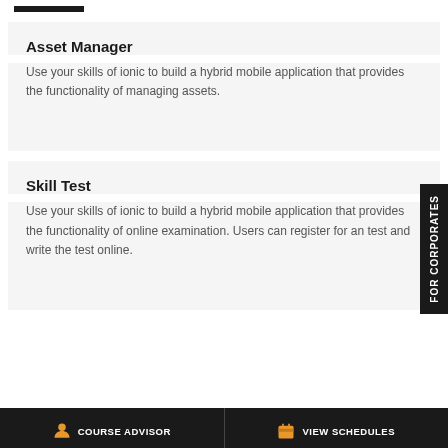Asset Manager
Use your skills of ionic to build a hybrid mobile application that provides the functionality of managing assets.
Skill Test
Use your skills of ionic to build a hybrid mobile application that provides the functionality of online examination. Users can register for an test and write the test online.
COURSE ADVISOR | VIEW SCHEDULES